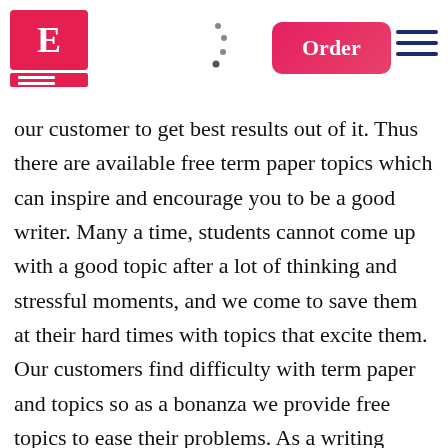[Figure (logo): Letter E logo in red/pink square with horizontal lines below, forming a brand mark]
[Figure (other): Small dotted curved arc/arrow shape in the header area]
[Figure (other): Pink/red Order button in header]
[Figure (other): Hamburger menu icon (three horizontal lines) in dark blue]
our customer to get best results out of it. Thus there are available free term paper topics which can inspire and encourage you to be a good writer. Many a time, students cannot come up with a good topic after a lot of thinking and stressful moments, and we come to save them at their hard times with topics that excite them. Our customers find difficulty with term paper and topics so as a bonanza we provide free topics to ease their problems. As a writing service company, we provide lots of topics which inspires our customer and also prospective customers. Free